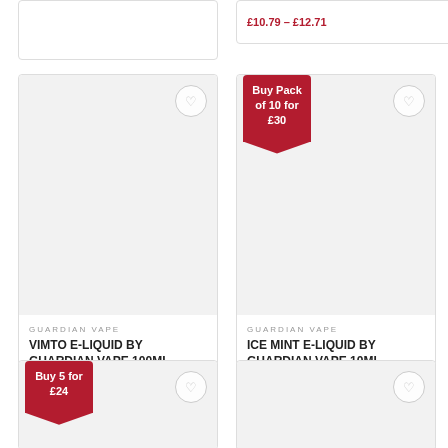£10.79 – £12.71
[Figure (other): Product card image placeholder for Vimto e-liquid]
GUARDIAN VAPE
VIMTO E-LIQUID BY GUARDIAN VAPE 100ML
£10.79 – £12.71
[Figure (other): Product card image placeholder for Ice Mint e-liquid with Buy Pack of 10 for £30 badge]
GUARDIAN VAPE
ICE MINT E-LIQUID BY GUARDIAN VAPE 10ML
£3.83
[Figure (other): Product card partial view with Buy 5 for £24 badge]